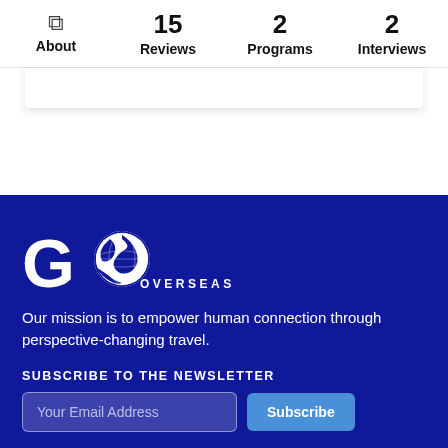About | 15 Reviews | 2 Programs | 2 Interviews
[Figure (logo): GoOverseas logo with globe icon and text OVERSEAS]
Our mission is to empower human connection through perspective-changing travel.
SUBSCRIBE TO THE NEWSLETTER
Your Email Address | Subscribe